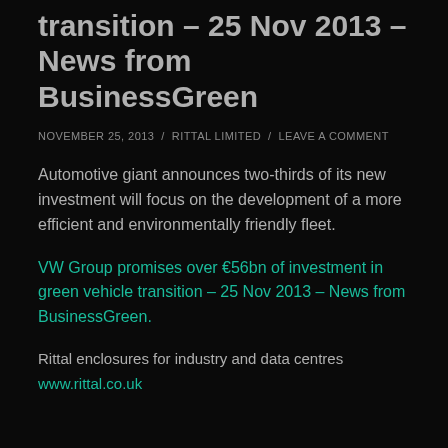transition – 25 Nov 2013 – News from BusinessGreen
NOVEMBER 25, 2013 / RITTAL LIMITED / LEAVE A COMMENT
Automotive giant announces two-thirds of its new investment will focus on the development of a more efficient and environmentally friendly fleet.
VW Group promises over €56bn of investment in green vehicle transition – 25 Nov 2013 – News from BusinessGreen.
Rittal enclosures for industry and data centres
www.rittal.co.uk